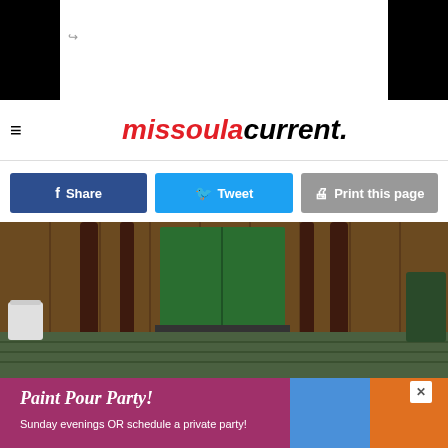[Figure (screenshot): Top navigation bar with black side bars and arrow icon on white background]
[Figure (logo): Missoula Current logo - 'missoula' in red italic bold, 'current.' in black italic bold, with hamburger menu icon on left]
[Figure (screenshot): Social sharing buttons row: Share (dark blue with Facebook f icon), Tweet (Twitter blue with bird icon), Print this page (gray with printer icon)]
[Figure (photo): Photograph of outdoor steps with dark metal railings, a green door in the background, wooden wall siding, a white bucket on the left, and green-painted steps in the foreground]
[Figure (infographic): Advertisement banner for Paint Pour Party - Sunday evenings OR schedule a private party!, purple/pink background with colorful paint pour images]